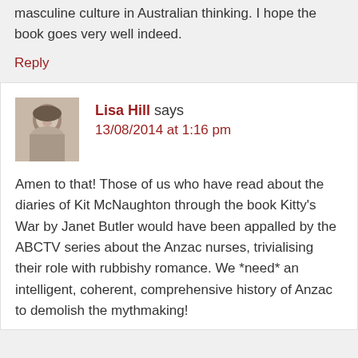masculine culture in Australian thinking. I hope the book goes very well indeed.
Reply
[Figure (photo): Avatar photo of Lisa Hill, a black and white childhood photo of a young girl]
Lisa Hill says 13/08/2014 at 1:16 pm
Amen to that! Those of us who have read about the diaries of Kit McNaughton through the book Kitty's War by Janet Butler would have been appalled by the ABCTV series about the Anzac nurses, trivialising their role with rubbishy romance. We *need* an intelligent, coherent, comprehensive history of Anzac to demolish the mythmaking!